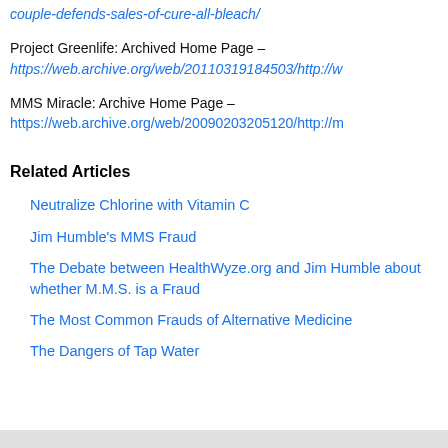couple-defends-sales-of-cure-all-bleach/
Project Greenlife: Archived Home Page – https://web.archive.org/web/20110319184503/http://w
MMS Miracle: Archive Home Page – https://web.archive.org/web/20090203205120/http://m
Related Articles
Neutralize Chlorine with Vitamin C
Jim Humble's MMS Fraud
The Debate between HealthWyze.org and Jim Humble about whether M.M.S. is a Fraud
The Most Common Frauds of Alternative Medicine
The Dangers of Tap Water